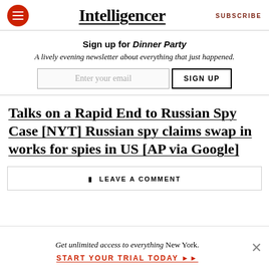Intelligencer  SUBSCRIBE
Sign up for Dinner Party
A lively evening newsletter about everything that just happened.
Enter your email  SIGN UP
Talks on a Rapid End to Russian Spy Case [NYT] Russian spy claims swap in works for spies in US [AP via Google]
LEAVE A COMMENT
Get unlimited access to everything New York. START YOUR TRIAL TODAY